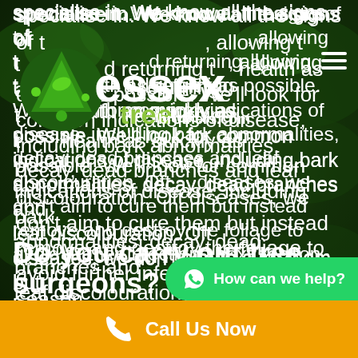[Figure (screenshot): Essex Tree Brothers website screenshot with green forest background, logo in top-left, hamburger menu top-right, body text about tree disease inspection, WhatsApp chat button, bold heading starting 'Do you carry out tree', and orange Call Us Now bar at bottom.]
specialise in. We know all the signs of the most common tree diseases, allowing us to identify them, and returning your trees to full health as quickly as possible. We'll look for common indications of disease, including bark abnormalities, decay, dead branches and leaf discolouration. Often with tree diseases, we don't aim to cure them but instead remove and destroy the foliage to avoid further infections next season.
Do you carry out tree surgeons?
How can we help?
Call Us Now